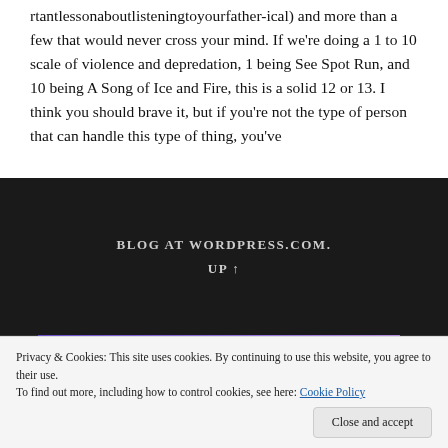rtantlessonaboutlisteningtoyourfather-ical) and more than a few that would never cross your mind. If we're doing a 1 to 10 scale of violence and depredation, 1 being See Spot Run, and 10 being A Song of Ice and Fire, this is a solid 12 or 13. I think you should brave it, but if you're not the type of person that can handle this type of thing, you've
BLOG AT WORDPRESS.COM.
UP ↑
[Figure (infographic): WordPress.com advertisement banner: 'everything you need.' with a pink 'Build Your Website' button on a purple gradient background]
Privacy & Cookies: This site uses cookies. By continuing to use this website, you agree to their use.
To find out more, including how to control cookies, see here: Cookie Policy